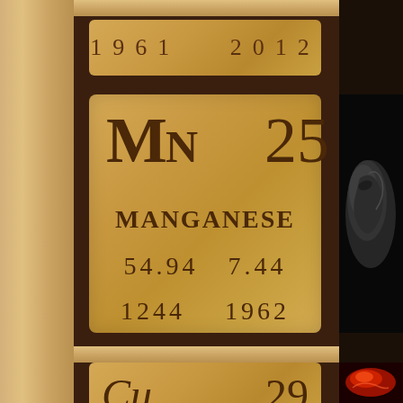[Figure (illustration): Wooden periodic table element tile for Manganese (Mn), atomic number 25, with engraved text showing symbol Mn, atomic number 25, name MANGANESE, atomic weight 54.94, density 7.44, melting point 1244, boiling point 1962. Set in a dark walnut frame with lighter wood borders. Partial tiles visible for adjacent elements. Right side shows a dark rock/mineral sample and a red mineral sample.]
Mn  25
MANGANESE
54.94  7.44
1244  1962
Cu  29